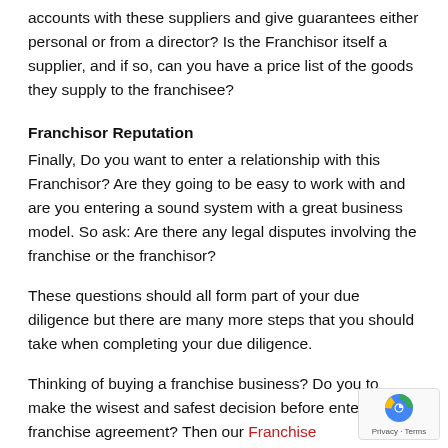accounts with these suppliers and give guarantees either personal or from a director? Is the Franchisor itself a supplier, and if so, can you have a price list of the goods they supply to the franchisee?
Franchisor Reputation
Finally, Do you want to enter a relationship with this Franchisor? Are they going to be easy to work with and are you entering a sound system with a great business model. So ask: Are there any legal disputes involving the franchise or the franchisor?
These questions should all form part of your due diligence but there are many more steps that you should take when completing your due diligence.
Thinking of buying a franchise business? Do you to make the wisest and safest decision before entering a franchise agreement? Then our Franchise